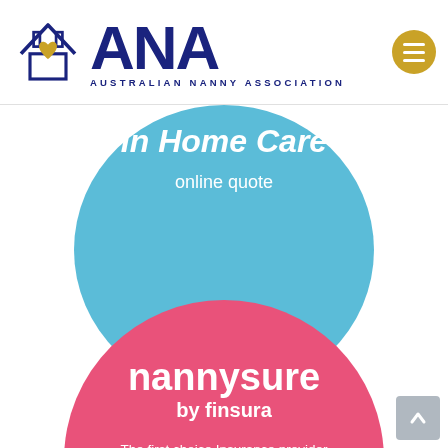ANA — Australian Nanny Association
[Figure (logo): Australian Nanny Association logo with house icon (dark blue outline, gold heart) and large ANA text with 'AUSTRALIAN NANNY ASSOCIATION' subtitle, plus gold hamburger menu button]
[Figure (infographic): Light blue circle graphic with text 'In Home Care' in bold italic white and 'online quote' beneath in white]
[Figure (infographic): Pink/hot-pink circle graphic with 'nannysure by finsura' in bold white and 'The first choice Insurance provider to carers for over 10 years' in white text]